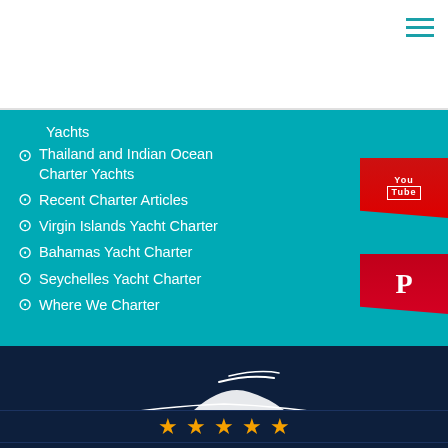Yachts
Thailand and Indian Ocean Charter Yachts
Recent Charter Articles
Virgin Islands Yacht Charter
Bahamas Yacht Charter
Seychelles Yacht Charter
Where We Charter
[Figure (logo): BoatBookings logo - white yacht silhouette with curved lines and BOATBOOKINGS text on dark navy background]
[Figure (other): Five gold star rating icons]
This website uses cookies — I understand and accept